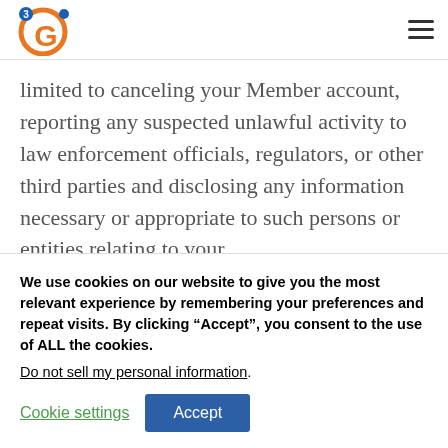3Gi logo and navigation menu
limited to canceling your Member account, reporting any suspected unlawful activity to law enforcement officials, regulators, or other third parties and disclosing any information necessary or appropriate to such persons or entities relating to your
We use cookies on our website to give you the most relevant experience by remembering your preferences and repeat visits. By clicking “Accept”, you consent to the use of ALL the cookies.
Do not sell my personal information.
Cookie settings  Accept